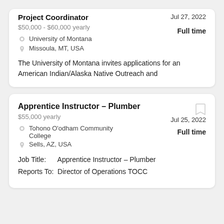Project Coordinator
$50,000 - $60,000 yearly
Jul 27, 2022   Full time
University of Montana
Missoula, MT, USA
The University of Montana invites applications for an American Indian/Alaska Native Outreach and
Apprentice Instructor – Plumber
$55,000 yearly
Jul 25, 2022   Full time
Tohono O'odham Community College
Sells, AZ, USA
Job Title:     Apprentice Instructor – Plumber
Reports To:   Director of Operations TOCC